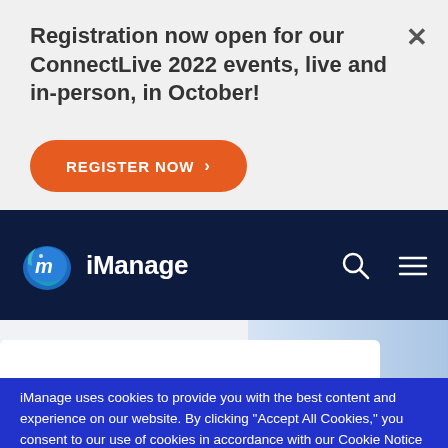Registration now open for our ConnectLive 2022 events, live and in-person, in October!
REGISTER NOW ›
[Figure (logo): iManage logo with stylized 'm' icon and text 'iManage' in white on dark navy navigation bar, with search and hamburger menu icons]
iManage uses cookies to provide you with the best content and experience on our website. By clicking "Accept All Cookies," you consent to our use of cookies in accordance with our Cookie Notice and Privacy Notice. You may review and adjust the cookie settings by clicking "Cookie Settings"